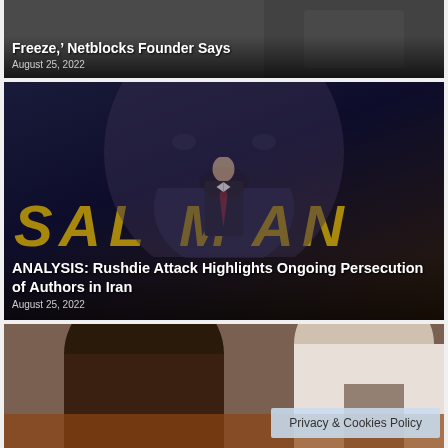[Figure (photo): Dark background news card with partial headline visible at top]
Freeze,' Netblocks Founder Says
August 25, 2022
[Figure (photo): Dark blue/purple composite image showing Salman Rushdie with golden SALMAN text overlay and a suited figure in foreground]
ANALYSIS: Rushdie Attack Highlights Ongoing Persecution of Authors in Iran
August 25, 2022
[Figure (photo): Close-up photo of two people, one with dark hair in foreground]
Privacy & Cookies Policy